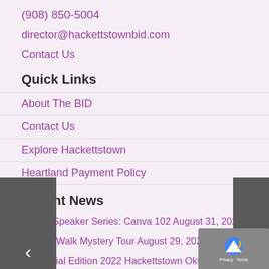(908) 850-5004
director@hackettstownbid.com
Contact Us
Quick Links
About The BID
Contact Us
Explore Hackettstown
Heartland Payment Policy
Recent News
BID Speaker Series: Canva 102 August 31, 2022
Tillie Walk Mystery Tour August 29, 2022
Special Edition 2022 Hackettstown Oktoberfest Gear August 25, 2022